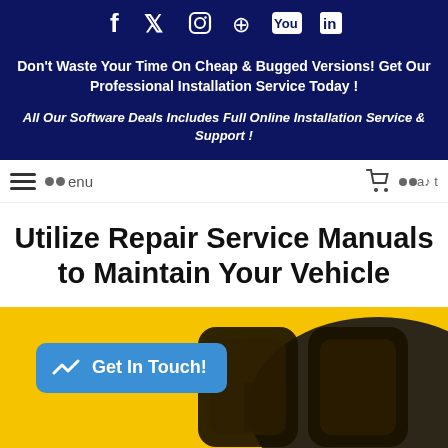[Figure (other): Social media icons row: Facebook, Twitter, Instagram, Pinterest, YouTube, LinkedIn on dark navy background]
Don't Waste Your Time On Cheap & Bugged Versions! Get Our Professional Installation Service Today !
All Our Software Deals Includes Full Online Installation Service & Support !
Menu navigation bar with hamburger icon, logo, cart icon, and other nav icons
Utilize Repair Service Manuals to Maintain Your Vehicle
[Figure (photo): Yellow background image with dark 3D logo/text and a blue 'Get In Touch!' call-to-action button overlay]